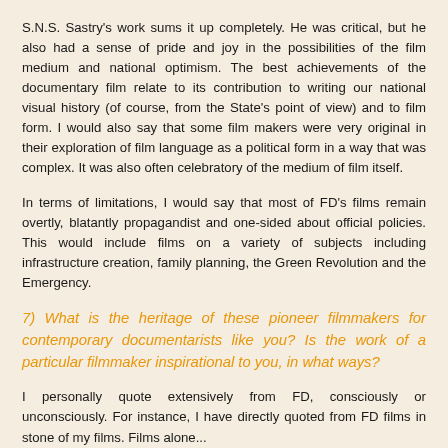S.N.S. Sastry's work sums it up completely. He was critical, but he also had a sense of pride and joy in the possibilities of the film medium and national optimism. The best achievements of the documentary film relate to its contribution to writing our national visual history (of course, from the State's point of view) and to film form. I would also say that some film makers were very original in their exploration of film language as a political form in a way that was complex. It was also often celebratory of the medium of film itself.
In terms of limitations, I would say that most of FD's films remain overtly, blatantly propagandist and one-sided about official policies. This would include films on a variety of subjects including infrastructure creation, family planning, the Green Revolution and the Emergency.
7) What is the heritage of these pioneer filmmakers for contemporary documentarists like you? Is the work of a particular filmmaker inspirational to you, in what ways?
I personally quote extensively from FD, consciously or unconsciously. For instance, I have directly quoted from FD films instone of my films. Films alone...